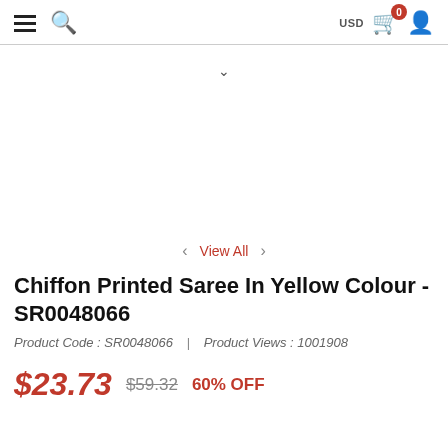USD | Navigation icons (hamburger, search, cart with badge 0, user)
[Figure (other): Product image area - blank/white, showing chevron down indicator]
< View All >
Chiffon Printed Saree In Yellow Colour - SR0048066
Product Code : SR0048066  |  Product Views : 1001908
$23.73  $59.32  60% OFF